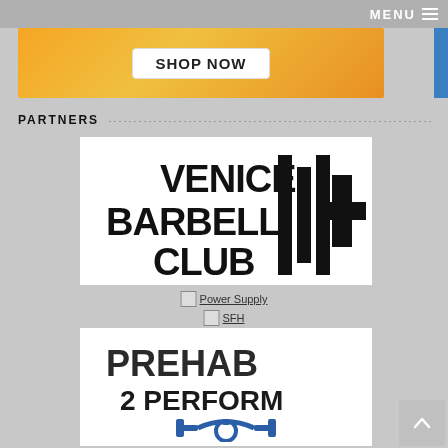MENU
[Figure (screenshot): Shop Now banner with orange/gold gradient background and a white button labeled SHOP NOW]
PARTNERS
[Figure (logo): Venice Barbell Club logo — bold black text with barbell graphic]
[Figure (logo): Power Supply logo link (broken image placeholder)]
[Figure (logo): SFH logo link (broken image placeholder)]
[Figure (logo): Prehab 2 Perform logo — bold dark text with blue weightlifting graphic]